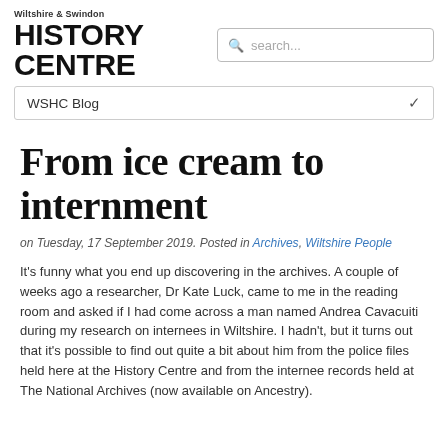Wiltshire & Swindon HISTORY CENTRE
From ice cream to internment
on Tuesday, 17 September 2019. Posted in Archives, Wiltshire People
It's funny what you end up discovering in the archives. A couple of weeks ago a researcher, Dr Kate Luck, came to me in the reading room and asked if I had come across a man named Andrea Cavacuiti during my research on internees in Wiltshire. I hadn't, but it turns out that it's possible to find out quite a bit about him from the police files held here at the History Centre and from the internee records held at The National Archives (now available on Ancestry).